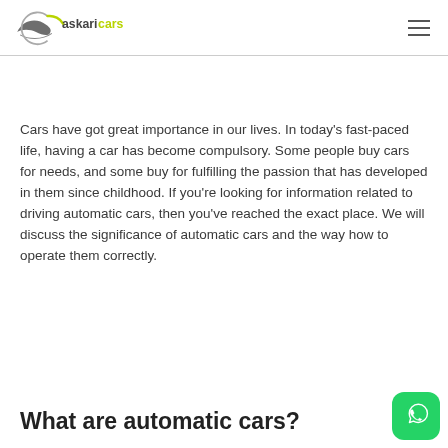askari cars
Cars have got great importance in our lives. In today's fast-paced life, having a car has become compulsory. Some people buy cars for needs, and some buy for fulfilling the passion that has developed in them since childhood. If you're looking for information related to driving automatic cars, then you've reached the exact place. We will discuss the significance of automatic cars and the way how to operate them correctly.
What are automatic cars?